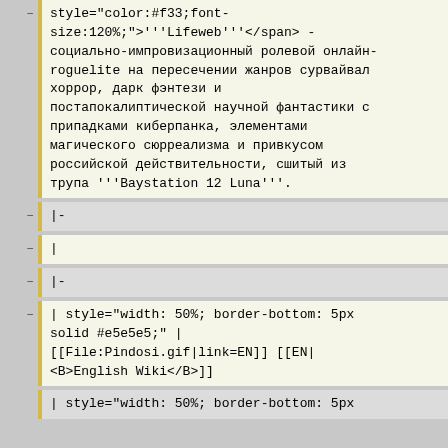style="color:#f33;font-size:120%;">'''Lifeweb'''</span> - социально-импровизационный ролевой онлайн-roguelite на пересечении жанров сурвайвал хоррор, дарк фэнтези и постапокалиптической научной фантастики с припадками киберпанка, элементами магического сюрреализма и привкусом российской действительности, сшитый из трупа '''Baystation 12 Luna'''.
|-
|
|-
| style="width: 50%; border-bottom: 5px solid #e5e5e5;" | [[File:Pindosi.gif|link=EN]] [[EN|<B>English Wiki</B>]]
| style="width: 50%; border-bottom: 5px